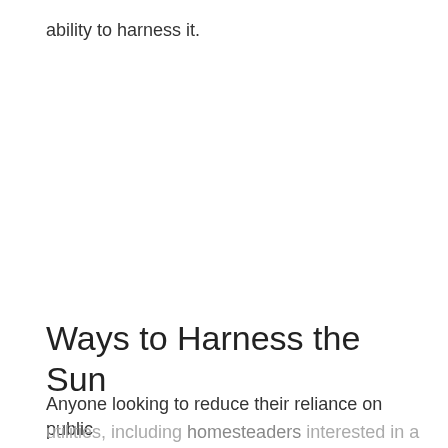ability to harness it.
Ways to Harness the Sun
Anyone looking to reduce their reliance on public utilities, including homesteaders interested in a sustainable life, and consumers looking for ways to